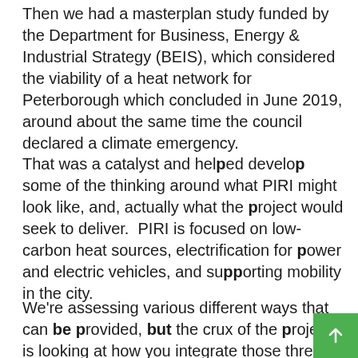Then we had a masterplan study funded by the Department for Business, Energy & Industrial Strategy (BEIS), which considered the viability of a heat network for Peterborough which concluded in June 2019, around about the same time the council declared a climate emergency.
That was a catalyst and helped develop some of the thinking around what PIRI might look like, and, actually what the project would seek to deliver.  PIRI is focused on low-carbon heat sources, electrification for power and electric vehicles, and supporting mobility in the city.
We're assessing various different ways that can be provided, but the crux of the project is looking at how you integrate those three separate vectors with their individual business cases and their individual structures, and how, using technology, you can integrate those in ways that will save users of the